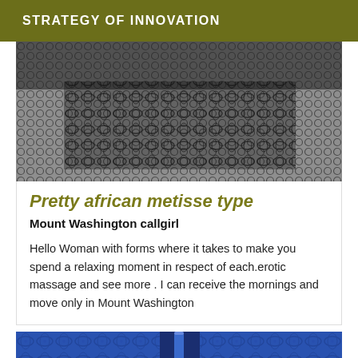STRATEGY OF INNOVATION
[Figure (photo): Close-up photo of black lace and fishnet fabric texture]
Pretty african metisse type
Mount Washington callgirl
Hello Woman with forms where it takes to make you spend a relaxing moment in respect of each.erotic massage and see more . I can receive the mornings and move only in Mount Washington
[Figure (photo): Close-up photo of blue lace bra fabric]